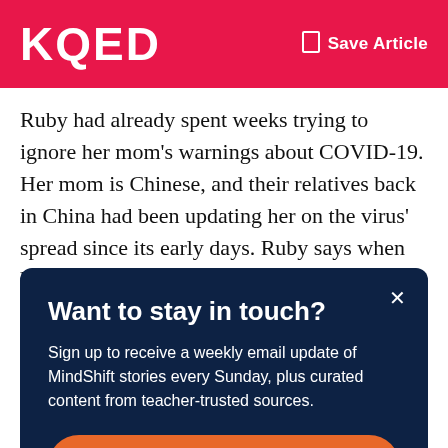KQED  Save Article
Ruby had already spent weeks trying to ignore her mom's warnings about COVID-19. Her mom is Chinese, and their relatives back in China had been updating her on the virus' spread since its early days. Ruby says when her spring break got extended, her mom told her: "Oh yeah, you won't be going back to school anytime soon."
Want to stay in touch?
Sign up to receive a weekly email update of MindShift stories every Sunday, plus curated content from teacher-trusted sources.
Sign Up